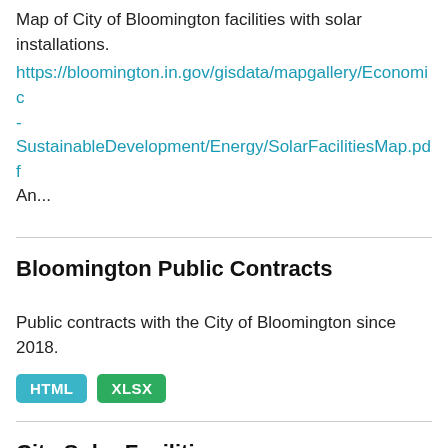Map of City of Bloomington facilities with solar installations.
https://bloomington.in.gov/gisdata/mapgallery/Economic-SustainableDevelopment/Energy/SolarFacilitiesMap.pdf
An...
Bloomington Public Contracts
Public contracts with the City of Bloomington since 2018.
HTML  XLSX
City Solar Facilities
A report of City Facilities with solar installations including system size. An online electricity dashboard showing the renewable energy being generated at the City's facilities...